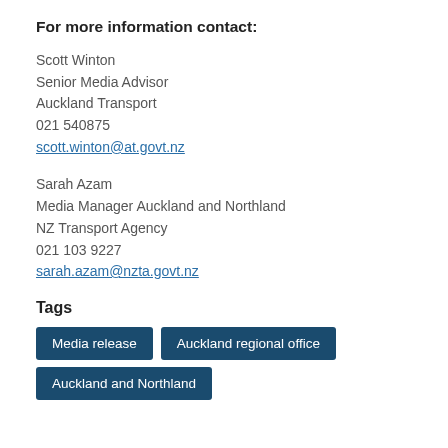For more information contact:
Scott Winton
Senior Media Advisor
Auckland Transport
021 540875
scott.winton@at.govt.nz
Sarah Azam
Media Manager Auckland and Northland
NZ Transport Agency
021 103 9227
sarah.azam@nzta.govt.nz
Tags
Media release | Auckland regional office | Auckland and Northland